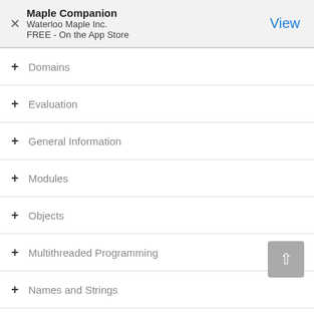Maple Companion
Waterloo Maple Inc.
FREE - On the App Store
View
+ Domains
+ Evaluation
+ General Information
+ Modules
+ Objects
+ Multithreaded Programming
+ Names and Strings
+ Operations
+ Audio Processing